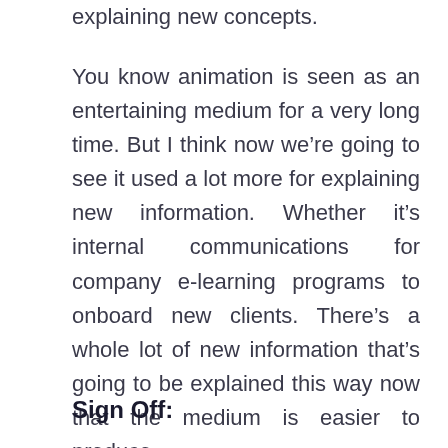explaining new concepts.
You know animation is seen as an entertaining medium for a very long time. But I think now we’re going to see it used a lot more for explaining new information. Whether it’s internal communications for company e-learning programs to onboard new clients. There’s a whole lot of new information that’s going to be explained this way now that the medium is easier to produce.
Sign Off: